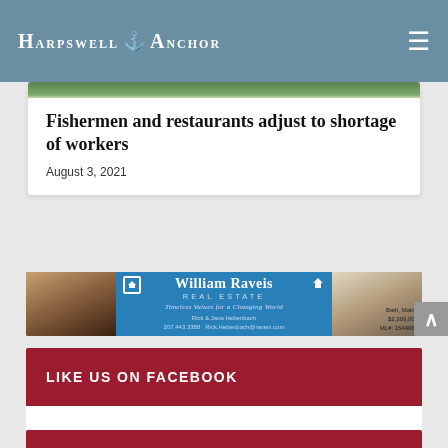Harpswell Anchor
[Figure (photo): Outdoor/nature photo strip at top of article card]
Fishermen and restaurants adjust to shortage of workers
August 3, 2021
[Figure (infographic): William Raveis Real Estate advertisement banner showing two agents, Rick & Jana Hebenbach, with contact info and a property listing photo. Bath, Maine. $2,300,000. ML#: 1544060.]
LIKE US ON FACEBOOK